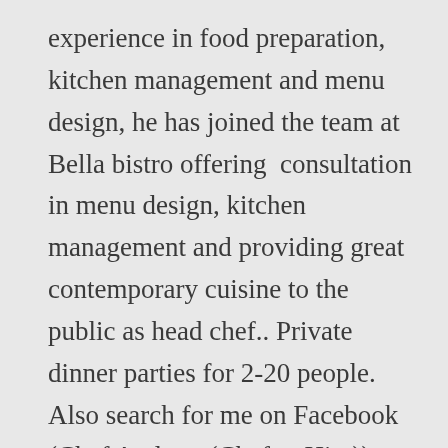experience in food preparation, kitchen management and menu design, he has joined the team at Bella bistro offering  consultation in menu design, kitchen management and providing great contemporary cuisine to the public as head chef.. Private dinner parties for 2-20 people. Also search for me on Facebook (Chef Andrew (Chef to Hire)) to see pictures of my dishes. He’s happy to come up with bespoke menus and is adept at creating well-balanced and delicious vegan as well as gluten-free menus. Adam travels widely demonstrating his new dishes and cooking methods at food fares, exhibitions and county shows where he shares his passion and insight with the general